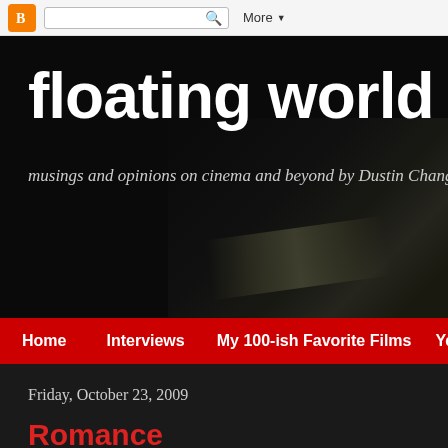Blogger navigation bar with search and More button
floating world
musings and opinions on cinema and beyond by Dustin Chang
Home  Interviews  My 100-ish Favorite Films  Yearly To
Friday, October 23, 2009
Romance
[Figure (photo): Close-up photo of a person's face (blonde hair visible), partially cropped at bottom of page]